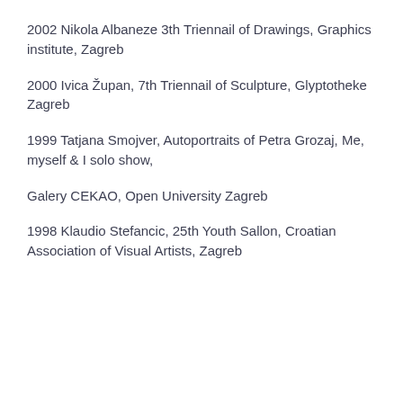2002 Nikola Albaneze 3th Triennail of Drawings, Graphics institute, Zagreb
2000 Ivica Župan, 7th Triennail of Sculpture, Glyptotheke Zagreb
1999 Tatjana Smojver, Autoportraits of Petra Grozaj, Me, myself & I solo show,
Galery CEKAO, Open University Zagreb
1998 Klaudio Stefancic, 25th Youth Sallon, Croatian Association of Visual Artists, Zagreb